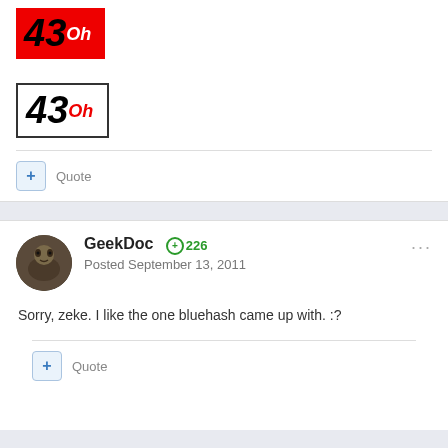[Figure (illustration): Red badge showing '43Oh' in black bold italic numerals on red background]
[Figure (illustration): Bordered badge showing '43Oh' with red superscript 'Oh' on white background with black border]
+ Quote
GeekDoc +226
Posted September 13, 2011
Sorry, zeke. I like the one bluehash came up with. :?
+ Quote